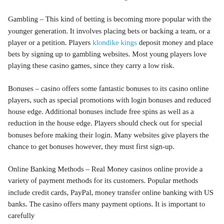comes with this kind of casino has a big value.
Gambling – This kind of betting is becoming more popular with the younger generation. It involves placing bets or backing a team, or a player or a petition. Players klondike kings deposit money and place bets by signing up to gambling websites. Most young players love playing these casino games, since they carry a low risk.
Bonuses – casino offers some fantastic bonuses to its casino online players, such as special promotions with login bonuses and reduced house edge. Additional bonuses include free spins as well as a reduction in the house edge. Players should check out for special bonuses before making their login. Many websites give players the chance to get bonuses however, they must first sign-up.
Online Banking Methods – Real Money casinos online provide a variety of payment methods for its customers. Popular methods include credit cards, PayPal, money transfer online banking with US banks. The casino offers many payment options. It is important to carefully